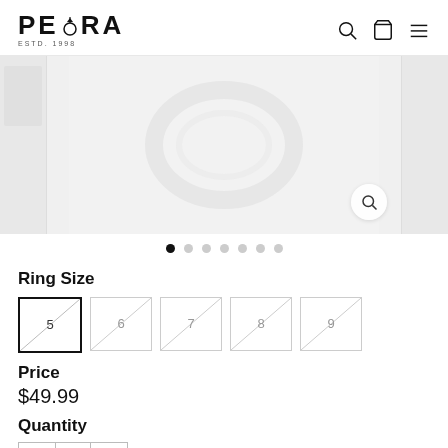PEORA ESTD. 1998
[Figure (photo): Product image carousel showing a ring on white background with zoom magnifier icon. Three panel layout with side thumbnails and main center image.]
Ring Size
5  6  7  8  9 (size options shown as boxes with diagonal slash marks)
Price
$49.99
Quantity
- 1 +